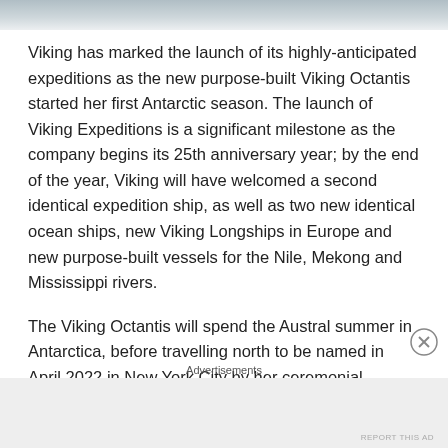[Figure (photo): Partial image banner at the top of the page, showing a grey/blue toned image cropped at the bottom.]
Viking has marked the launch of its highly-anticipated expeditions as the new purpose-built Viking Octantis started her first Antarctic season. The launch of Viking Expeditions is a significant milestone as the company begins its 25th anniversary year; by the end of the year, Viking will have welcomed a second identical expedition ship, as well as two new identical ocean ships, new Viking Longships in Europe and new purpose-built vessels for the Nile, Mekong and Mississippi rivers.
The Viking Octantis will spend the Austral summer in Antarctica, before travelling north to be named in April 2022 in New York City by her ceremonial godmother, Li...
Advertisements